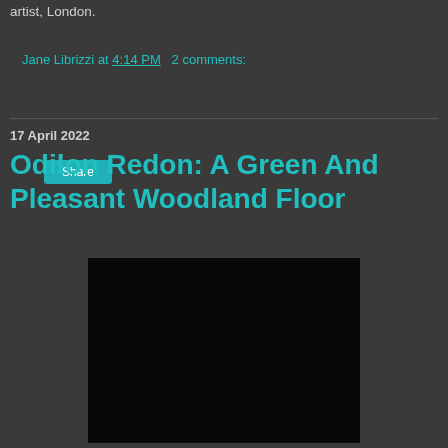artist, London.
Jane Librizzi at 4:14 PM   2 comments:
Share
17 April 2022
Odilon Redon: A Green And Pleasant Woodland Floor
[Figure (photo): A nearly black rectangular image, likely a dark artwork or photograph]